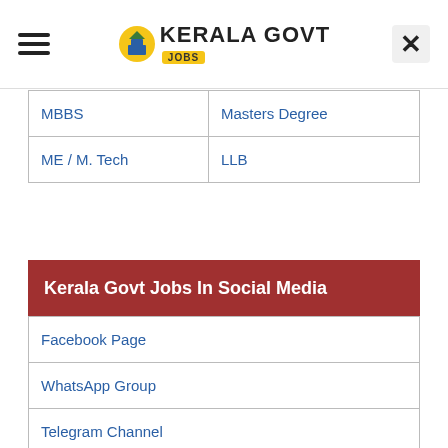KERALA GOVT JOBS
| MBBS | Masters Degree |
| ME / M. Tech | LLB |
Kerala Govt Jobs In Social Media
| Facebook Page |
| WhatsApp Group |
| Telegram Channel |